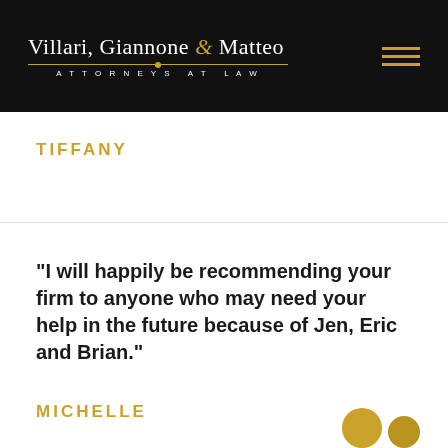Villari, Giannone & Matteo — ATTORNEYS AT LAW
TIFFANY
"I will happily be recommending your firm to anyone who may need your help in the future because of Jen, Eric and Brian."
MICHELLE